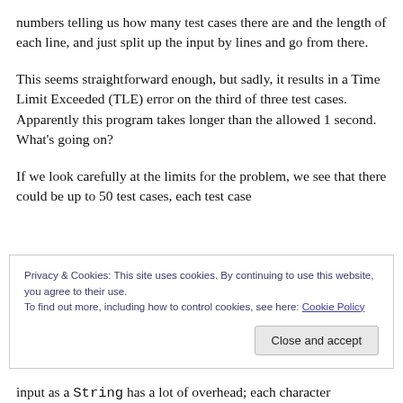numbers telling us how many test cases there are and the length of each line, and just split up the input by lines and go from there.
This seems straightforward enough, but sadly, it results in a Time Limit Exceeded (TLE) error on the third of three test cases. Apparently this program takes longer than the allowed 1 second. What's going on?
If we look carefully at the limits for the problem, we see that there could be up to 50 test cases, each test case could have up to...
Privacy & Cookies: This site uses cookies. By continuing to use this website, you agree to their use. To find out more, including how to control cookies, see here: Cookie Policy
input as a String has a lot of overhead; each character